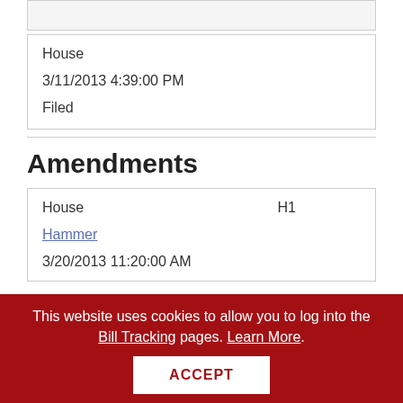| House | 3/11/2013 4:39:00 PM | Filed |
Amendments
| House | H1 | Hammer | 3/20/2013 11:20:00 AM |
This website uses cookies to allow you to log into the Bill Tracking pages. Learn More. ACCEPT